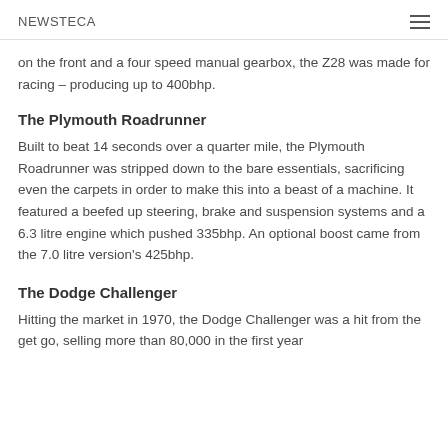NEWSTECA
on the front and a four speed manual gearbox, the Z28 was made for racing – producing up to 400bhp.
The Plymouth Roadrunner
Built to beat 14 seconds over a quarter mile, the Plymouth Roadrunner was stripped down to the bare essentials, sacrificing even the carpets in order to make this into a beast of a machine. It featured a beefed up steering, brake and suspension systems and a 6.3 litre engine which pushed 335bhp. An optional boost came from the 7.0 litre version's 425bhp.
The Dodge Challenger
Hitting the market in 1970, the Dodge Challenger was a hit from the get go, selling more than 80,000 in the first year